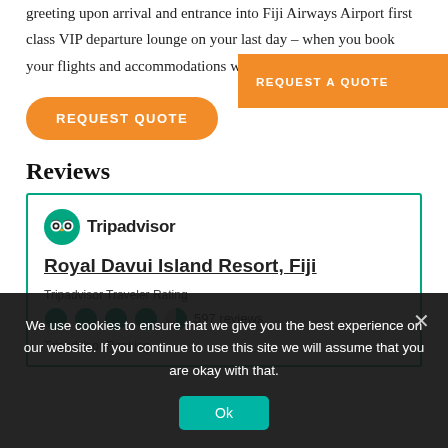greeting upon arrival and entrance into Fiji Airways Airport first class VIP departure lounge on your last day – when you book your flights and accommodations with us.
REQUEST A QUOTE
REQUEST QUOTE
Reviews
[Figure (other): Tripadvisor logo with owl icon and brand name]
Royal Davui Island Resort, Fiji
Tripadvisor Traveler Rating
597 reviews
Tripadvisor Ranking
We use cookies to ensure that we give you the best experience on our website. If you continue to use this site we will assume that you are okay with that.
Ok